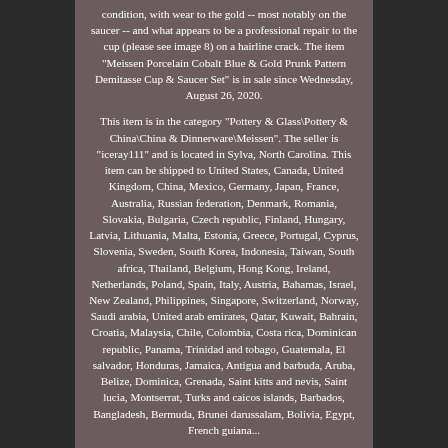condition, with wear to the gold -- most notably on the saucer -- and what appears to be a professional repair to the cup (please see image 8) on a hairline crack. The item "Meissen Porcelain Cobalt Blue & Gold Prunk Pattern Demitasse Cup & Saucer Set" is in sale since Wednesday, August 26, 2020.

This item is in the category "Pottery & Glass\Pottery & China\China & Dinnerware\Meissen". The seller is "iceray111" and is located in Sylva, North Carolina. This item can be shipped to United States, Canada, United Kingdom, China, Mexico, Germany, Japan, France, Australia, Russian federation, Denmark, Romania, Slovakia, Bulgaria, Czech republic, Finland, Hungary, Latvia, Lithuania, Malta, Estonia, Greece, Portugal, Cyprus, Slovenia, Sweden, South Korea, Indonesia, Taiwan, South africa, Thailand, Belgium, Hong Kong, Ireland, Netherlands, Poland, Spain, Italy, Austria, Bahamas, Israel, New Zealand, Philippines, Singapore, Switzerland, Norway, Saudi arabia, United arab emirates, Qatar, Kuwait, Bahrain, Croatia, Malaysia, Chile, Colombia, Costa rica, Dominican republic, Panama, Trinidad and tobago, Guatemala, El salvador, Honduras, Jamaica, Antigua and barbuda, Aruba, Belize, Dominica, Grenada, Saint kitts and nevis, Saint lucia, Montserrat, Turks and caicos islands, Barbados, Bangladesh, Bermuda, Brunei darussalam, Bolivia, Egypt, French guiana...